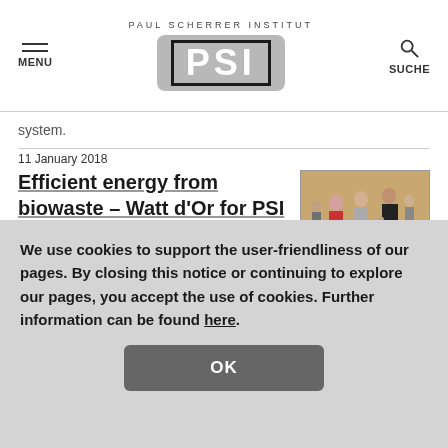PAUL SCHERRER INSTITUT PSI | MENU | SUCHE
system.
11 January 2018
Efficient energy from biowaste – Watt d'Or for PSI and Energie 360°
[Figure (photo): People at an award ceremony standing on a red carpet in a large hall]
Energy and Environment
Industrial co-
We use cookies to support the user-friendliness of our pages. By closing this notice or continuing to explore our pages, you accept the use of cookies. Further information can be found here.
OK